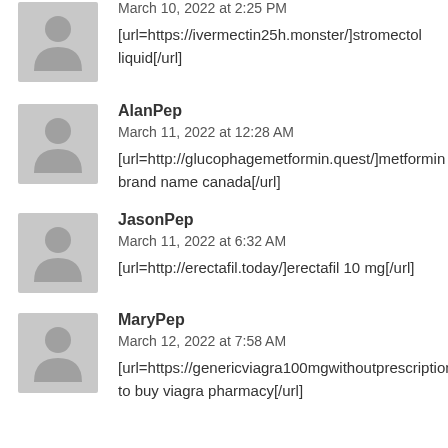[Figure (illustration): Default user avatar placeholder (gray silhouette)]
March 10, 2022 at 2:25 PM
[url=https://ivermectin25h.monster/]stromectol liquid[/url]
[Figure (illustration): Default user avatar placeholder (gray silhouette)]
AlanPep
March 11, 2022 at 12:28 AM
[url=http://glucophagemetformin.quest/]metformin brand name canada[/url]
[Figure (illustration): Default user avatar placeholder (gray silhouette)]
JasonPep
March 11, 2022 at 6:32 AM
[url=http://erectafil.today/]erectafil 10 mg[/url]
[Figure (illustration): Default user avatar placeholder (gray silhouette)]
MaryPep
March 12, 2022 at 7:58 AM
[url=https://genericviagra100mgwithoutprescription.monster/]where to buy viagra pharmacy[/url]